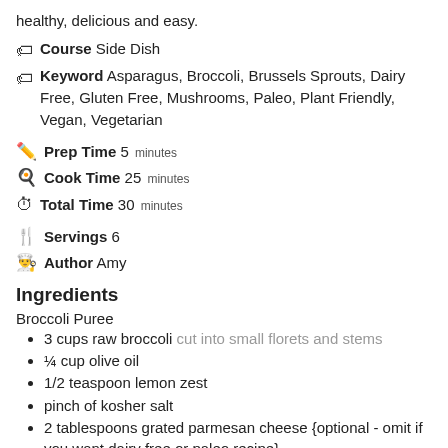healthy, delicious and easy.
Course Side Dish
Keyword Asparagus, Broccoli, Brussels Sprouts, Dairy Free, Gluten Free, Mushrooms, Paleo, Plant Friendly, Vegan, Vegetarian
Prep Time 5 minutes
Cook Time 25 minutes
Total Time 30 minutes
Servings 6
Author Amy
Ingredients
Broccoli Puree
3 cups raw broccoli cut into small florets and stems
¼ cup olive oil
1/2 teaspoon lemon zest
pinch of kosher salt
2 tablespoons grated parmesan cheese {optional - omit if you want dairy free or paleo recipe}
Roasted Vegetables
16 ounces fresh brussels sprouts trimmed and halved
10 asparagus spears cut into 1" pieces
4 ounces mushroom blend {crimini shiitake & oyster} sliced thin
4 tablespoons of olive oil, divided